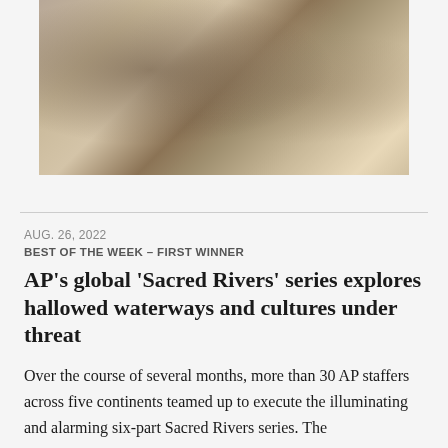[Figure (photo): A person in a khaki jacket looking at small sealed plastic bags containing plant material on a wooden surface.]
AUG. 26, 2022
BEST OF THE WEEK – FIRST WINNER
AP's global 'Sacred Rivers' series explores hallowed waterways and cultures under threat
Over the course of several months, more than 30 AP staffers across five continents teamed up to execute the illuminating and alarming six-part Sacred Rivers series. The